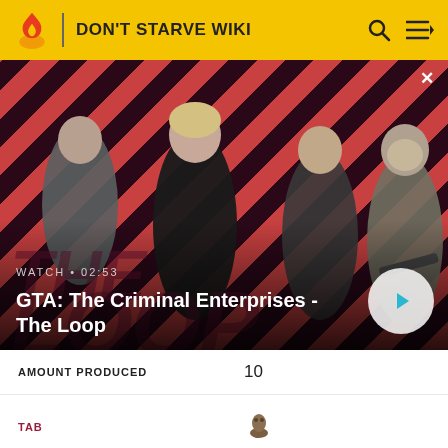DON'T STARVE WIKI
[Figure (screenshot): GTA: The Criminal Enterprises - The Loop video thumbnail with striped background and characters. Shows WATCH • 02:53 label and play button.]
GTA: The Criminal Enterprises - The Loop
| Field | Value |
| --- | --- |
| AMOUNT PRODUCED | 10 |
| TAB | 🐾 |
| TIER | 🪨 |